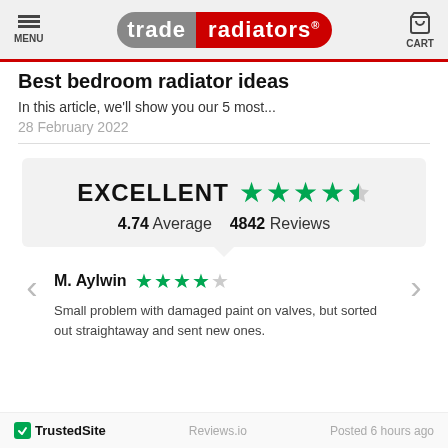[Figure (logo): Trade Radiators logo with hamburger menu and cart icons in gray header bar]
Best bedroom radiator ideas
In this article, we'll show you our 5 most...
28 February 2022
[Figure (infographic): Trustpilot-style rating box: EXCELLENT with 4.5 green stars, 4.74 Average, 4842 Reviews]
M. Aylwin ★★★★☆ Small problem with damaged paint on valves, but sorted out straightaway and sent new ones.
TrustedSite  Reviews.io  Posted 6 hours ago